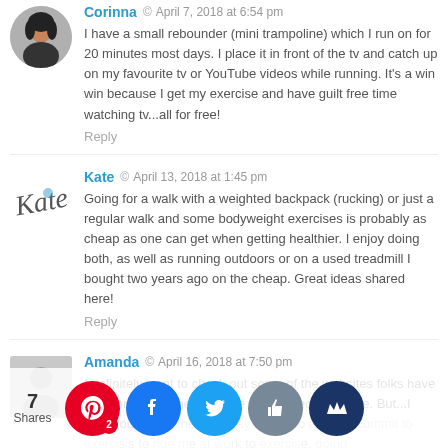[Figure (photo): Avatar photo of Corinna, a woman with dark hair]
Corinna  ·  April 7, 2018 at 6:54 pm
I have a small rebounder (mini trampoline) which I run on for 20 minutes most days. I place it in front of the tv and catch up on my favourite tv or YouTube videos while running. It's a win win because I get my exercise and have guilt free time watching tv...all for free!
Reply
[Figure (illustration): Kate signature/avatar in cursive script style]
Kate  ·  April 13, 2018 at 1:45 pm
Going for a walk with a weighted backpack (rucking) or just a regular walk and some bodyweight exercises is probably as cheap as one can get when getting healthier. I enjoy doing both, as well as running outdoors or on a used treadmill I bought two years ago on the cheap. Great ideas shared here!
Reply
[Figure (illustration): Gray placeholder avatar icon for Amanda]
Amanda  ·  April 16, 2018 at 7:50 pm
I definitely want to check out some of the websites folks have mentioned! I sometimes like to do videos at home. But...I have found that the best way for me to actually commit to exercising is to engage me at work to exercise, going home, and while it's not free, I have found that going to a gym...
7 Shares
[Figure (infographic): Social share buttons: Pinterest (2 saves), Facebook, Twitter, Like, Crown]